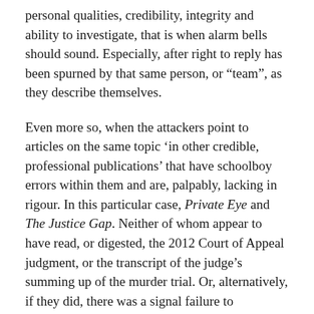personal qualities, credibility, integrity and ability to investigate, that is when alarm bells should sound. Especially, after right to reply has been spurned by that same person, or “team”, as they describe themselves.
Even more so, when the attackers point to articles on the same topic ‘in other credible, professional publications’ that have schoolboy errors within them and are, palpably, lacking in rigour. In this particular case, Private Eye and The Justice Gap. Neither of whom appear to have read, or digested, the 2012 Court of Appeal judgment, or the transcript of the judge’s summing up of the murder trial. Or, alternatively, if they did, there was a signal failure to apprehend how seriously both documents undermine the Garbutt innocence claim.
The Garbutt campaigners, and ‘the UK’s leading miscarriage of justice investigator’ are also blissfully